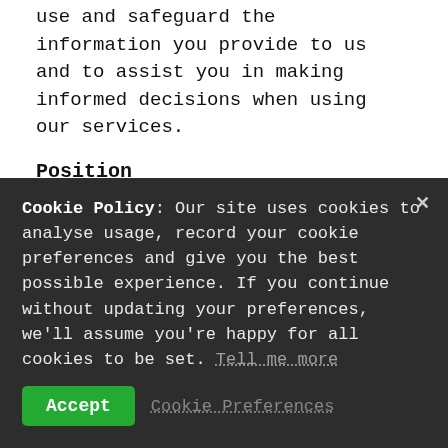use and safeguard the information you provide to us and to assist you in making informed decisions when using our services.
Position
Nerve Tumours UK does not endorse unethical fundraising (as defined by the Fundraising
Cookie Policy: Our site uses cookies to analyse usage, record your cookie preferences and give you the best possible experience. If you continue without updating your preferences, we'll assume you're happy for all cookies to be set. Tell me more
Accept   Cookie Preferences